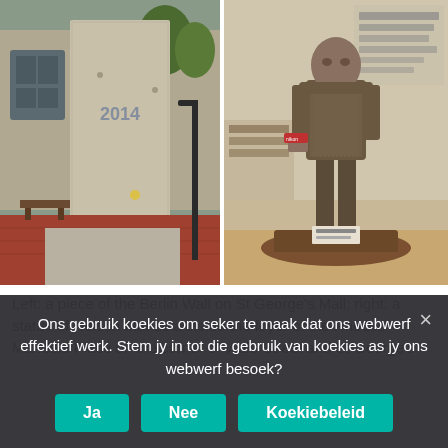[Figure (photo): Left photo: a large grey concrete slab (piece of Berlin Wall) standing in an outdoor plaza with red brick pavement, trees, a lamppost, and stone building in background. Right photo: a bronze statue of Nelson Mandela holding something, displayed indoors on a wooden platform, with glass walls behind showing text and shelving.]
Left: a piece of the Berlin Wall on St George's Mall; right: a statue of Nelson Mandela inside the foyer of the Rhodes Mandela Place on the corner of Wale Street and St George's Mall, diagonally opposite St.
Ons gebruik koekies om seker te maak dat ons webwerf effektief werk. Stem jy in tot die gebruik van koekies as jy ons webwerf besoek?